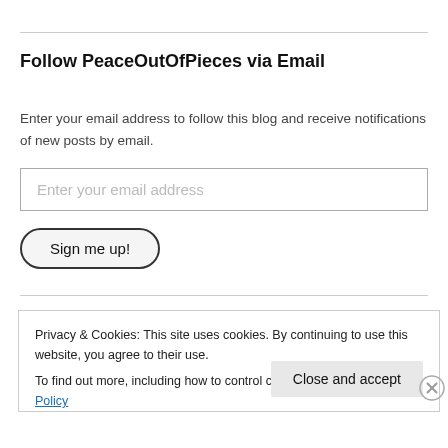Follow PeaceOutOfPieces via Email
Enter your email address to follow this blog and receive notifications of new posts by email.
Enter your email address
Sign me up!
Privacy & Cookies: This site uses cookies. By continuing to use this website, you agree to their use.
To find out more, including how to control cookies, see here: Cookie Policy
Close and accept